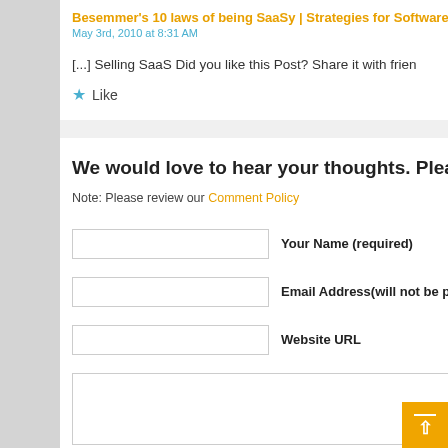Besemmer's 10 laws of being SaaSy | Strategies for Software-as-a-Se
May 3rd, 2010 at 8:31 AM
[...] Selling SaaS Did you like this Post? Share it with frien
★ Like
We would love to hear your thoughts. Please leave a
Note: Please review our Comment Policy
Your Name (required)
Email Address(will not be published)
Website URL